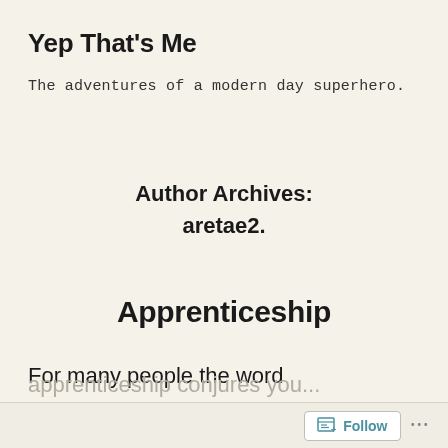Yep That's Me
The adventures of a modern day superhero.
Author Archives:
aretae2.
Apprenticeship
For many people the word
Follow ...